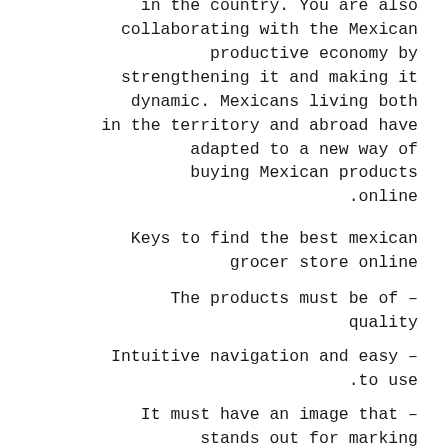in the country. You are also collaborating with the Mexican productive economy by strengthening it and making it dynamic. Mexicans living both in the territory and abroad have adapted to a new way of buying Mexican products online.
Keys to find the best mexican grocer store online
– The products must be of quality
– Intuitive navigation and easy to use.
– It must have an image that stands out for marking presence on the web.
– It must offer different payment methods.